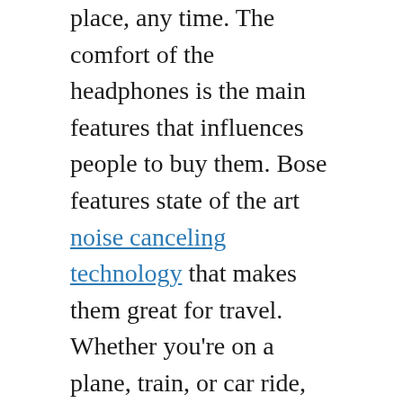place, any time. The comfort of the headphones is the main features that influences people to buy them. Bose features state of the art noise canceling technology that makes them great for travel. Whether you're on a plane, train, or car ride, these headphones will make traveling more enjoyable.
The noise cancellation Bose headphones technology is unique. They are not like the ordinary headphones that block all external disturbances. You can clearly hear your favorite music without having to turn the volume up. These headphones will give you the quality that you expect. The cordless Bose headphones are also easy to use. There are no cords